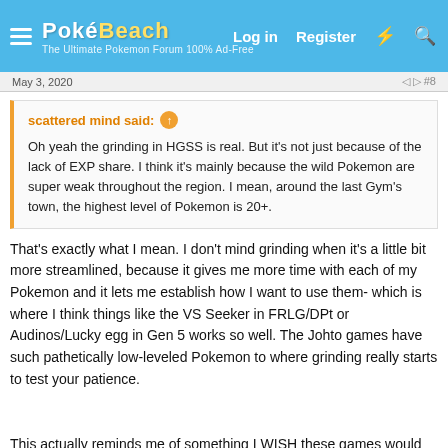PokéBeach — Log in  Register
May 3, 2020
scattered mind said: ↑

Oh yeah the grinding in HGSS is real. But it's not just because of the lack of EXP share. I think it's mainly because the wild Pokemon are super weak throughout the region. I mean, around the last Gym's town, the highest level of Pokemon is 20+.
That's exactly what I mean. I don't mind grinding when it's a little bit more streamlined, because it gives me more time with each of my Pokemon and it lets me establish how I want to use them- which is where I think things like the VS Seeker in FRLG/DPt or Audinos/Lucky egg in Gen 5 works so well. The Johto games have such pathetically low-leveled Pokemon to where grinding really starts to test your patience.


This actually reminds me of something I WISH these games would do. I would love if they had both the EXP share from pre-gen 6, and ALSO the new one with the choice of turning it off.